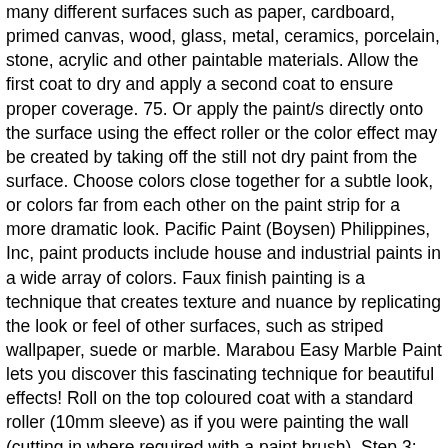many different surfaces such as paper, cardboard, primed canvas, wood, glass, metal, ceramics, porcelain, stone, acrylic and other paintable materials. Allow the first coat to dry and apply a second coat to ensure proper coverage. 75. Or apply the paint/s directly onto the surface using the effect roller or the color effect may be created by taking off the still not dry paint from the surface. Choose colors close together for a subtle look, or colors far from each other on the paint strip for a more dramatic look. Pacific Paint (Boysen) Philippines, Inc, paint products include house and industrial paints in a wide array of colors. Faux finish painting is a technique that creates texture and nuance by replicating the look or feel of other surfaces, such as striped wallpaper, suede or marble. Marabou Easy Marble Paint lets you discover this fascinating technique for beautiful effects! Roll on the top coloured coat with a standard roller (10mm sleeve) as if you were painting the wall (cutting in where required with a paint brush). Step 3: Add Marble Veins. Great for accessories as well as trim details and radiators. Press the sponge onto the wall surrounding the thick patches of paint 1,000 and the effects into the between offered from the